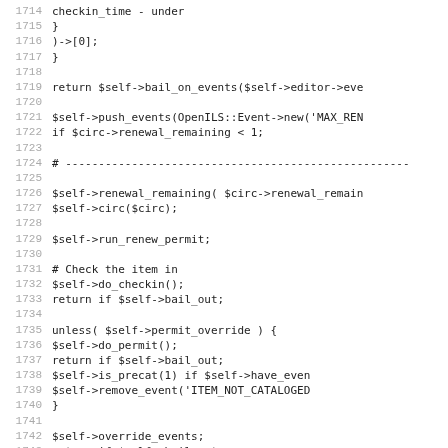[Figure (screenshot): Source code listing showing Perl/code lines 1714-1746 with line numbers on the left and code on the right in monospace font.]